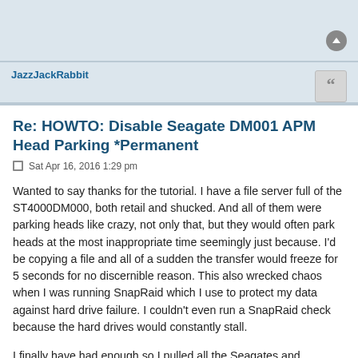JazzJackRabbit
Re: HOWTO: Disable Seagate DM001 APM Head Parking *Permanent
Sat Apr 16, 2016 1:29 pm
Wanted to say thanks for the tutorial. I have a file server full of the ST4000DM000, both retail and shucked. And all of them were parking heads like crazy, not only that, but they would often park heads at the most inappropriate time seemingly just because. I'd be copying a file and all of a sudden the transfer would freeze for 5 seconds for no discernible reason. This also wrecked chaos when I was running SnapRaid which I use to protect my data against hard drive failure. I couldn't even run a SnapRaid check because the hard drives would constantly stall.
I finally have had enough so I pulled all the Seagates and disabled APM on them one by one. I'm running full SnapRaid check on them right now and the speed improvements are already obvious, whereas before I averaged 30-300Mb/s because of the constant stalling caused by head parking, now I see 700+MB/s average. So